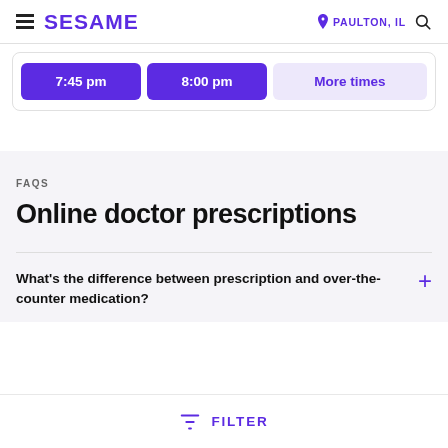SESAME | PAULTON, IL
7:45 pm   8:00 pm   More times
FAQS
Online doctor prescriptions
What's the difference between prescription and over-the-counter medication?
FILTER